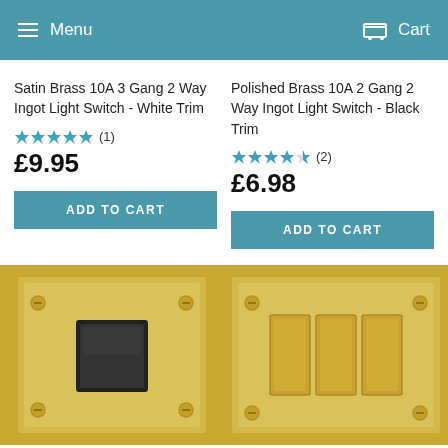Menu  Cart
Satin Brass 10A 3 Gang 2 Way Ingot Light Switch - White Trim
★★★★★ (1)
£9.95
ADD TO CART
Polished Brass 10A 2 Gang 2 Way Ingot Light Switch - Black Trim
★★★★½ (2)
£6.98
ADD TO CART
[Figure (photo): Satin brass single gang light switch with black rocker on gold/brass plate]
[Figure (photo): Polished brass 3 gang light switch with white/brass rockers on gold plate]